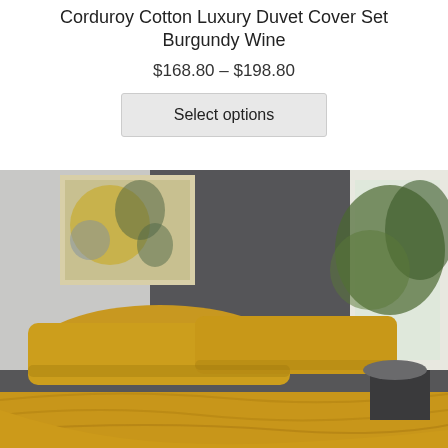Corduroy Cotton Luxury Duvet Cover Set Burgundy Wine
$168.80 – $198.80
Select options
[Figure (photo): A bed with mustard yellow/golden corduroy duvet cover and pillowcases on a grey upholstered bed frame, with a grey headboard panel, an abstract painting on the wall, and greenery visible through a window on the right side.]